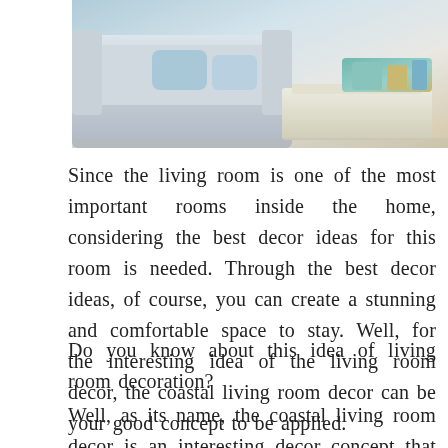[Figure (photo): Interior photo of a coastal-style living room with white sofa, white side table, and teal/turquoise decorative items]
Since the living room is one of the most important rooms inside the home, considering the best decor ideas for this room is needed. Through the best decor ideas, of course, you can create a stunning and comfortable space to stay. Well, for the interesting idea of the living room decor, the coastal living room decor can be your good concept to be applied.
Do you know about this idea of living room decoration?
Well, as its name, the coastal living room decor is an interesting decor concept that will